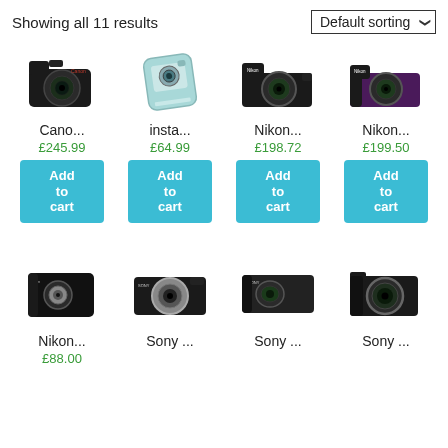Showing all 11 results
Default sorting
[Figure (photo): Canon DSLR camera, black]
Cano...
£245.99
Add to cart
[Figure (photo): Instax mini camera, light blue]
insta...
£64.99
Add to cart
[Figure (photo): Nikon bridge camera, black]
Nikon...
£198.72
Add to cart
[Figure (photo): Nikon camera, black and purple]
Nikon...
£199.50
Add to cart
[Figure (photo): Nikon compact camera, black]
Nikon...
£88.00
[Figure (photo): Sony compact camera, black with silver lens]
Sony ...
[Figure (photo): Sony compact camera, black]
Sony ...
[Figure (photo): Sony mirrorless camera, black]
Sony ...